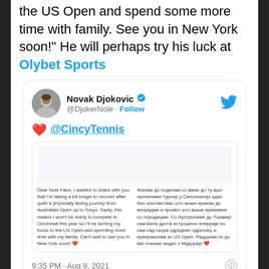the US Open and spend some more time with family. See you in New York soon!" He will perhaps try his luck at Olybet Sports
[Figure (screenshot): Embedded tweet from Novak Djokovic (@DjokerNole) with heart emoji and @CincyTennis mention, containing a quoted tweet with bilingual text, timestamped 9:35 PM · Aug 9, 2021, with 7.7K likes, Reply and Copy link actions.]